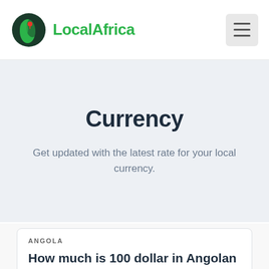LocalAfrica
Currency
Get updated with the latest rate for your local currency.
ANGOLA
How much is 100 dollar in Angolan